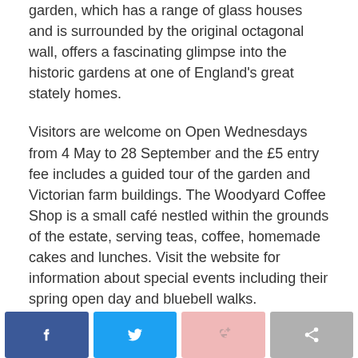garden, which has a range of glass houses and is surrounded by the original octagonal wall, offers a fascinating glimpse into the historic gardens at one of England's great stately homes.
Visitors are welcome on Open Wednesdays from 4 May to 28 September and the £5 entry fee includes a guided tour of the garden and Victorian farm buildings. The Woodyard Coffee Shop is a small café nestled within the grounds of the estate, serving teas, coffee, homemade cakes and lunches. Visit the website for information about special events including their spring open day and bluebell walks.
[Figure (other): Social media share buttons: Facebook, Twitter, Google+, and a generic share button]